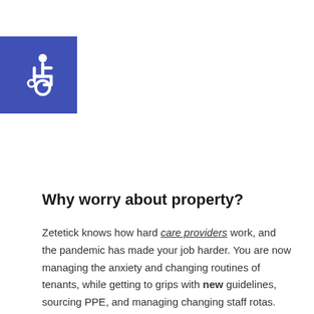[Figure (illustration): Blue square icon with white wheelchair accessibility symbol (ISA international symbol of access)]
Why worry about property?
Zetetick knows how hard care providers work, and the pandemic has made your job harder. You are now managing the anxiety and changing routines of tenants, while getting to grips with new guidelines, sourcing PPE, and managing changing staff rotas. The care providers we partner with don't have the additional worries about trying to find tradespeople when